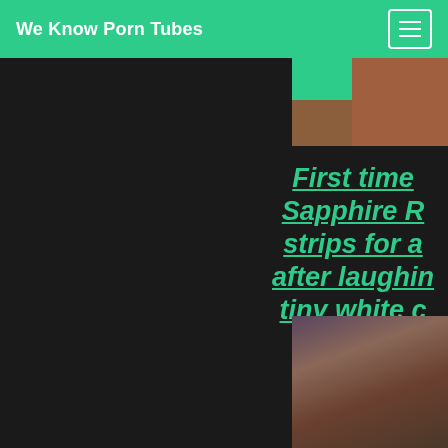We Know Porn Tubes
[Figure (photo): Partial photo visible at top right, showing brown/tan and teal colors]
First time Sapphire R strips for a after laughin tiny white c
[Figure (photo): Partial photo visible at bottom right showing a person in dark clothing in a room]